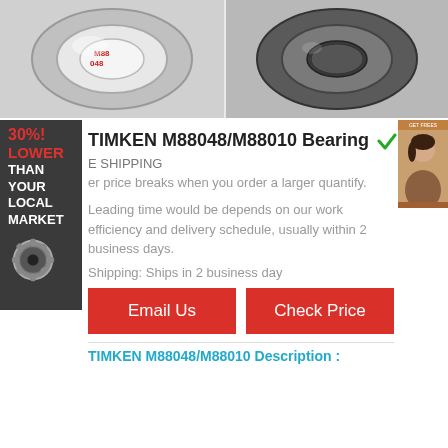[Figure (photo): Two product photos of TIMKEN M88048/M88010 bearings side by side — left shows a shiny chrome bearing ring on wrapping, right shows a dark/gunmetal sealed bearing]
[Figure (infographic): 30% LOWER THAN YOUR LOCAL MARKET ad banner on dark background with gear icon]
[Figure (photo): Small advertisement banner on right side showing a person]
TIMKEN M88048/M88010 Bearing
in stock
E SHIPPING
er price breaks when you order a larger quantify.
Leading time would be depends on our work efficiency and delivery schedule, usually within 2 business days.
Shipping: Ships in 2 business day
Email Us
Check Price
TIMKEN M88048/M88010 Description :